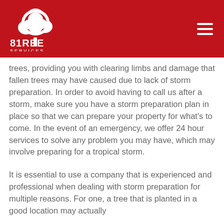[Figure (logo): 81Tree Services logo — white tree icon above text '81REE SERVICES' on a red background header bar with hamburger menu icon on the right]
trees, providing you with clearing limbs and damage that fallen trees may have caused due to lack of storm preparation. In order to avoid having to call us after a storm, make sure you have a storm preparation plan in place so that we can prepare your property for what's to come. In the event of an emergency, we offer 24 hour services to solve any problem you may have, which may involve preparing for a tropical storm.
It is essential to use a company that is experienced and professional when dealing with storm preparation for multiple reasons. For one, a tree that is planted in a good location may actually